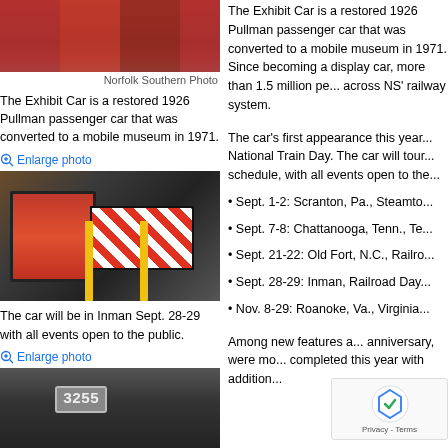[Figure (photo): Top portion of a red railroad passenger car]
Norfolk Southern Photo
The Exhibit Car is a restored 1926 Pullman passenger car that was converted to a mobile museum in 1971.
Enlarge photo
[Figure (photo): Interior of the Exhibit Car showing exhibits and a striped access ramp with yellow safety rails]
The car will be in Inman Sept. 28-29 with all events open to the public.
Enlarge photo
[Figure (photo): Exterior of locomotive number 3255]
The Exhibit Car is a restored 1926 Pullman passenger car that was converted to a mobile museum in 1971. Since becoming a display car, more than 1.5 million people have visited the car across NS' railway system.
The car's first appearance this year will be on National Train Day. The car will tour on an extensive schedule, with all events open to the public.
• Sept. 1-2: Scranton, Pa., Steamto...
• Sept. 7-8: Chattanooga, Tenn., Te...
• Sept. 21-22: Old Fort, N.C., Railro...
• Sept. 28-29: Inman, Railroad Day...
• Nov. 8-29: Roanoke, Va., Virginia...
Among new features added to mark the anniversary, were mo... completed this year with addition...